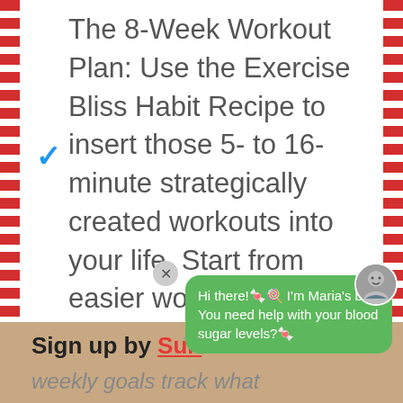The 8-Week Workout Plan: Use the Exercise Bliss Habit Recipe to insert those 5- to 16-minute strategically created workouts into your life. Start from easier workouts and build up your fitness level from there.
The 12-Week Exercise Bliss
Sign up by Sun
weekly goals track what
[Figure (screenshot): Green chat bot overlay bubble saying 'Hi there! I'm Maria's bot! You need help with your blood sugar levels?' with a circular avatar photo of a woman in the top right corner and an X close button.]